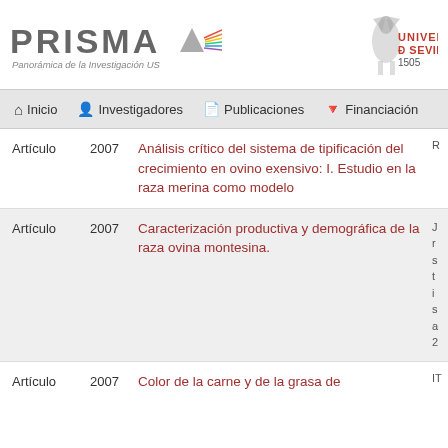[Figure (logo): PRISMA - Panorámica de la Investigación US logo with prism graphic, and Universidad de Sevilla 1505 logo]
Inicio | Investigadores | Publicaciones | Financiación
| Tipo | Año | Título | Autor/es |
| --- | --- | --- | --- |
| Artículo | 2007 | Análisis crítico del sistema de tipificación del crecimiento en ovino exensivo: I. Estudio en la raza merina como modelo | R... |
| Artículo | 2007 | Caracterización productiva y demográfica de la raza ovina montesina. | J... r... s... t... i... s... a... 2... |
| Artículo | 2007 | Color de la carne y de la grasa de | IT... |